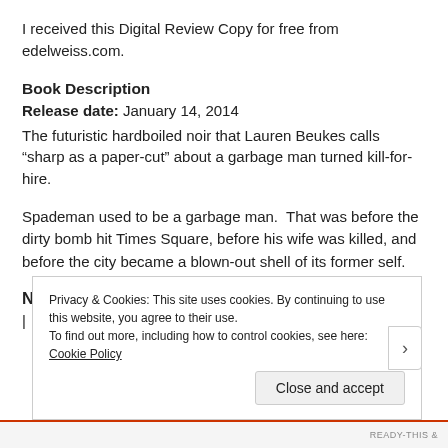I received this Digital Review Copy for free from edelweiss.com.
Book Description
Release date: January 14, 2014
The futuristic hardboiled noir that Lauren Beukes calls “sharp as a paper-cut” about a garbage man turned kill-for-hire.
Spademan used to be a garbage man.  That was before the dirty bomb hit Times Square, before his wife was killed, and before the city became a blown-out shell of its former self.
Now he’s a hitman.
Privacy & Cookies: This site uses cookies. By continuing to use this website, you agree to their use.
To find out more, including how to control cookies, see here: Cookie Policy
Close and accept